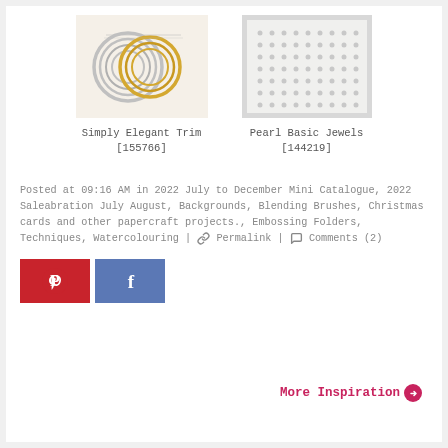[Figure (photo): Photo of Simply Elegant Trim rings - silver and gold wire rings]
Simply Elegant Trim
[155766]
[Figure (photo): Photo of Pearl Basic Jewels - white dot grid pattern on grey background]
Pearl Basic Jewels
[144219]
Posted at 09:16 AM in 2022 July to December Mini Catalogue, 2022 Saleabration July August, Backgrounds, Blending Brushes, Christmas cards and other papercraft projects., Embossing Folders, Techniques, Watercolouring | 🔗 Permalink | 💬 Comments (2)
[Figure (logo): Pinterest and Facebook social sharing buttons]
More Inspiration ➤